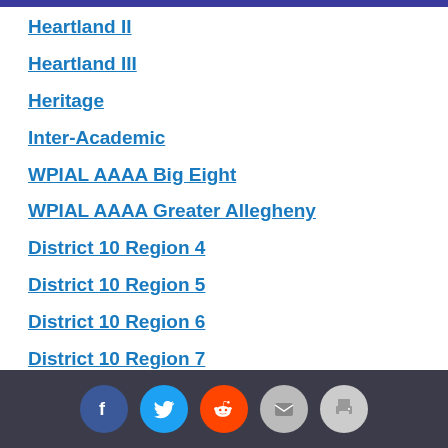Heartland II
Heartland III
Heritage
Inter-Academic
WPIAL AAAA Big Eight
WPIAL AAAA Greater Allegheny
District 10 Region 4
District 10 Region 5
District 10 Region 6
District 10 Region 7
District 10 Region 8
Eastern Pennsylvania North
Eastern Pennsylvania South